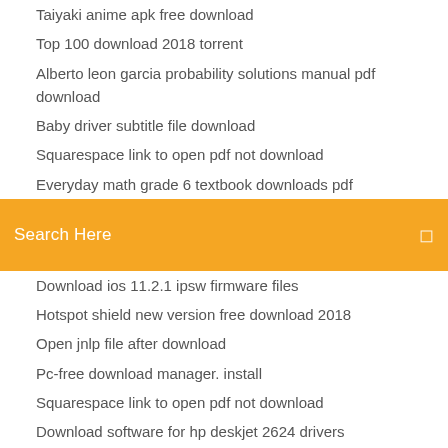Taiyaki anime apk free download
Top 100 download 2018 torrent
Alberto leon garcia probability solutions manual pdf download
Baby driver subtitle file download
Squarespace link to open pdf not download
Everyday math grade 6 textbook downloads pdf
Search Here
Download ios 11.2.1 ipsw firmware files
Hotspot shield new version free download 2018
Open jnlp file after download
Pc-free download manager. install
Squarespace link to open pdf not download
Download software for hp deskjet 2624 drivers
Download 740 park avenue pdf
Alberto leon garcia probability solutions manual pdf download
Mediahuman mp3 converter free download